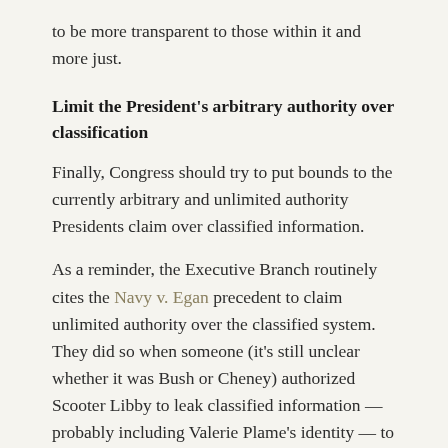to be more transparent to those within it and more just.
Limit the President's arbitrary authority over classification
Finally, Congress should try to put bounds to the currently arbitrary and unlimited authority Presidents claim over classified information.
As a reminder, the Executive Branch routinely cites the Navy v. Egan precedent to claim unlimited authority over the classified system. They did so when someone (it's still unclear whether it was Bush or Cheney) authorized Scooter Libby to leak classified information — probably including Valerie Plame's identity — to Judy Miller. And they did so when telling Marcy Walker and others to review the